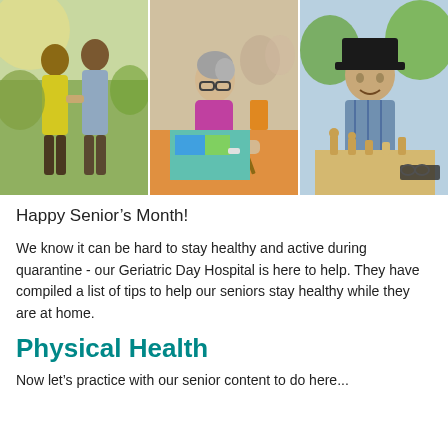[Figure (photo): Three side-by-side photos of seniors: left - an African American couple walking outdoors smiling; center - an older woman painting/drawing at a table; right - an older man in a hat smiling while playing chess outdoors.]
Happy Senior's Month!
We know it can be hard to stay healthy and active during quarantine - our Geriatric Day Hospital is here to help. They have compiled a list of tips to help our seniors stay healthy while they are at home.
Physical Health
Now let's practice with our senior content to do here...